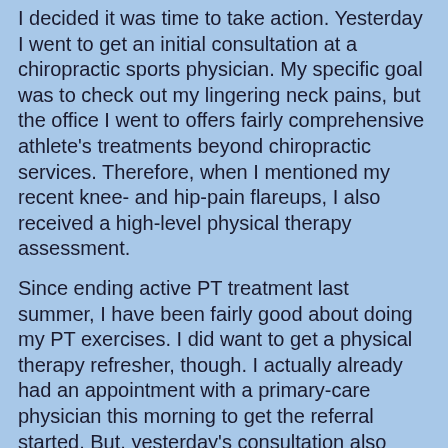I decided it was time to take action.  Yesterday I went to get an initial consultation at a chiropractic sports physician.  My specific goal was to check out my lingering neck pains, but the office I went to offers fairly comprehensive athlete's treatments beyond chiropractic services.  Therefore, when I mentioned my recent knee- and hip-pain flareups, I also received a high-level physical therapy assessment.
Since ending active PT treatment last summer, I have been fairly good about doing my PT exercises.  I did want to get a physical therapy refresher, though.  I actually already had an appointment with a primary-care physician this morning to get the referral started.  But, yesterday's consultation also confirmed that more PT would definitely be helpful for me.
[Figure (photo): A humorous fake prescription pad from 'Medical World Laboratory Files, MWF Community Service Center' made out to patient 'Motifake Community', dated Nov. 16, 1938, at address 1313 Mockingbird Lane, Elmo, TK, prescribed by Dr. Letzal Phielgud, Chiologist, with the instruction 'Take 1 (one) Chill Pill as needed']